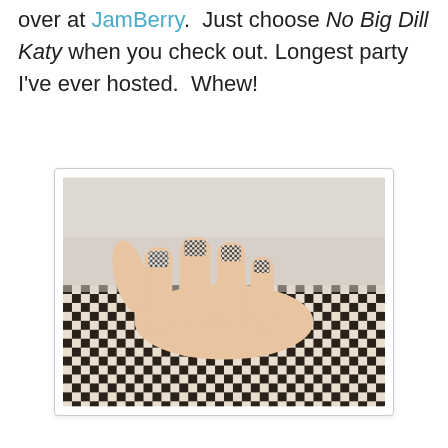over at JamBerry.  Just choose No Big Dill Katy when you check out. Longest party I've ever hosted.  Whew!
[Figure (photo): A hand gripping the top edge of a black and white checkered item (bag or case). The nails have black and white checkered nail wraps/jamberry decals applied, matching the pattern of the item being held. Photo taken against a light gray/white background.]